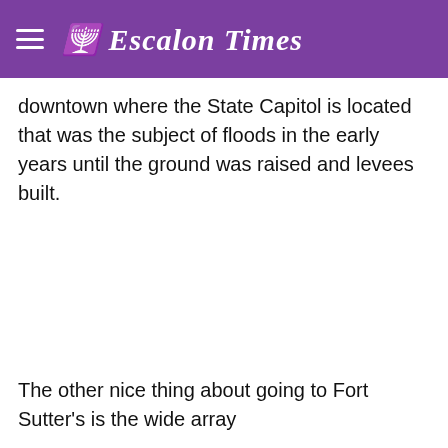Escalon Times
downtown where the State Capitol is located that was the subject of floods in the early years until the ground was raised and levees built.
The other nice thing about going to Fort Sutter's is the wide array